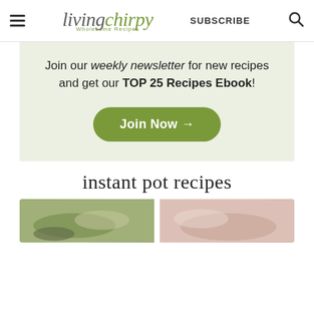living chirpy — Wholesome Recipes | SUBSCRIBE
Join our weekly newsletter for new recipes and get our TOP 25 Recipes Ebook!
Join Now →
instant pot recipes
[Figure (photo): Two food photos side by side at the bottom of the page]